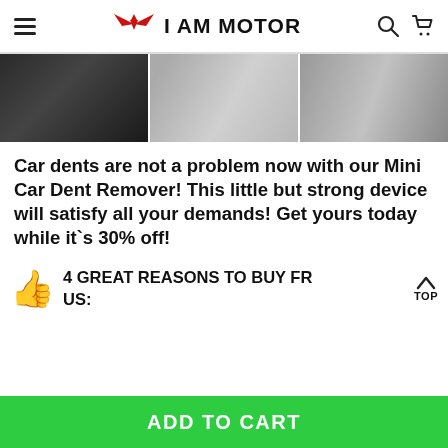I AM MOTOR
[Figure (photo): Three product photos showing car dents and car body surface details — a tire/wheel area, a dented car body panel, and a car door edge/trim.]
Car dents are not a problem now with our Mini Car Dent Remover! This little but strong device will satisfy all your demands! Get yours today while it`s 30% off!
4 GREAT REASONS TO BUY FROM US:
ADD TO CART